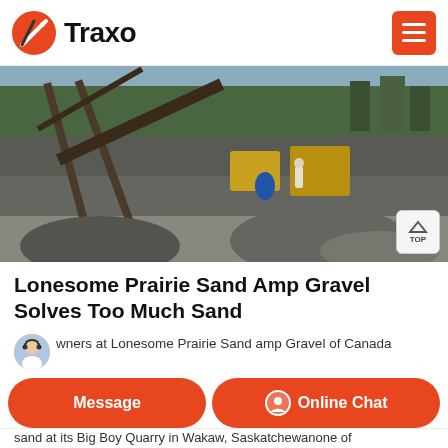Traxo
[Figure (photo): Outdoor quarry site with heavy machinery, conveyor belts, gravel piles, and trees in the background. A person is visible near the equipment.]
Lonesome Prairie Sand Amp Gravel Solves Too Much Sand
wners at Lonesome Prairie Sand amp Gravel of Canada
sand at its Big Boy Quarry in Wakaw, Saskatchewanone of